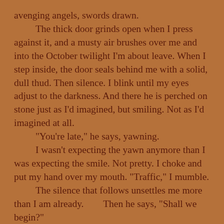avenging angels, swords drawn.
	The thick door grinds open when I press against it, and a musty air brushes over me and into the October twilight I'm about leave. When I step inside, the door seals behind me with a solid, dull thud. Then silence. I blink until my eyes adjust to the darkness. And there he is perched on stone just as I'd imagined, but smiling. Not as I'd imagined at all.
	"You're late," he says, yawning.
	I wasn't expecting the yawn anymore than I was expecting the smile. Not pretty. I choke and put my hand over my mouth. "Traffic," I mumble.
	The silence that follows unsettles me more than I am already.        Then he says, "Shall we begin?"
	Like I have a choice? I'd say this to him, but I know better. I read the contract. I signed it, but before I understood what this was really about. I was twenty,